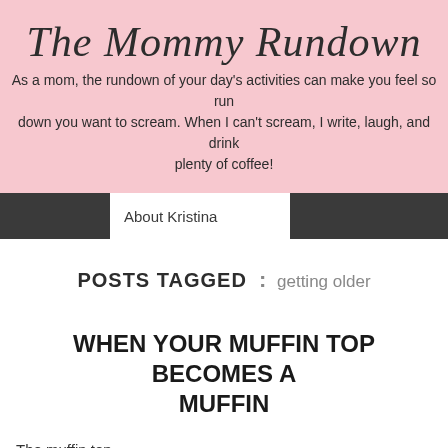The Mommy Rundown
As a mom, the rundown of your day’s activities can make you feel so run down you want to scream. When I can’t scream, I write, laugh, and drink plenty of coffee!
About Kristina
POSTS TAGGED : getting older
WHEN YOUR MUFFIN TOP BECOMES A MUFFIN
The muffin top.